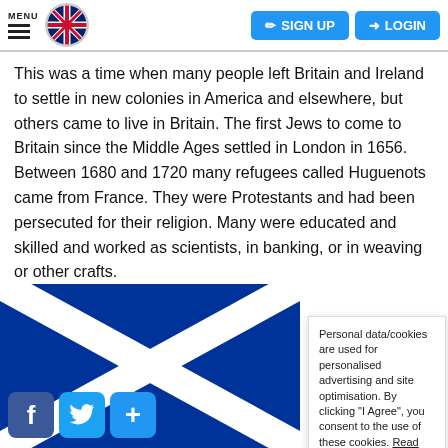MENU | SIGN UP | LOGIN
This was a time when many people left Britain and Ireland to settle in new colonies in America and elsewhere, but others came to live in Britain. The first Jews to come to Britain since the Middle Ages settled in London in 1656. Between 1680 and 1720 many refugees called Huguenots came from France. They were Protestants and had been persecuted for their religion. Many were educated and skilled and worked as scientists, in banking, or in weaving or other crafts.
3.4.3 The ... in Scotlan...
Personal data/cookies are used for personalised advertising and site optimisation. By clicking “I Agree”, you consent to the use of these cookies. Read More
[Figure (screenshot): Cookie consent dialog with I Agree and Cookie Settings buttons]
[Figure (illustration): Scotland flag (Saltire) in background, social media icons (Facebook, Twitter, plus) in bottom left]